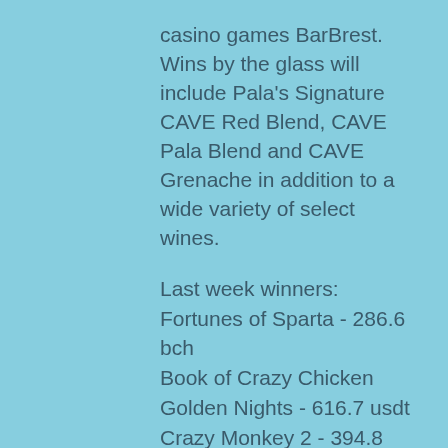casino gamesBarBrest. Wins by the glass will include Pala's Signature CAVE Red Blend, CAVE Pala Blend and CAVE Grenache in addition to a wide variety of select wines.
Last week winners: Fortunes of Sparta - 286.6 bch Book of Crazy Chicken Golden Nights - 616.7 usdt Crazy Monkey 2 - 394.8 usdt Angel's Touch - 326.9 usdt Magician Dreaming - 95.3 bch Magician Dreaming - 701.8 usdt Hot Ink - 697.9 eth Cold Cash - 652.1 bch Cash Coaster - 232 ltc Mythic Maiden - 213.7 eth Jimi Hendrix - 646 btc Watch the Birdie - 658.6 eth Nauticus - 322.7 bch Diamonds Downunder - 191 btc